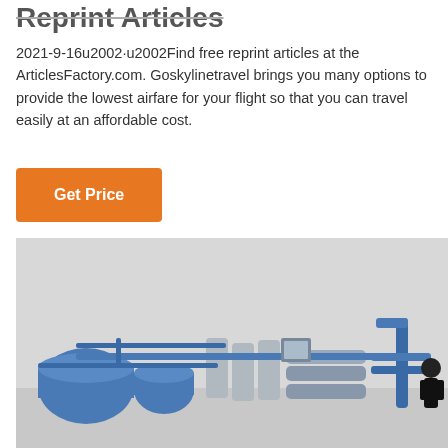Reprint Articles
2021-9-16u2002·u2002Find free reprint articles at the ArticlesFactory.com. Goskylinetravel brings you many options to provide the lowest airfare for your flight so that you can travel easily at an affordable cost.
[Figure (other): Orange 'Get Price' button]
[Figure (photo): Industrial water treatment or reverse osmosis plant with blue cylindrical tanks, stainless steel pressure vessels, and blue piping systems, photographed outdoors against a grey sky.]